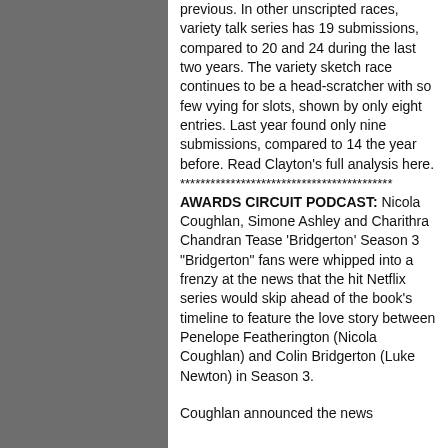previous. In other unscripted races, variety talk series has 19 submissions, compared to 20 and 24 during the last two years. The variety sketch race continues to be a head-scratcher with so few vying for slots, shown by only eight entries. Last year found only nine submissions, compared to 14 the year before. Read Clayton’s full analysis here.
******************************************
AWARDS CIRCUIT PODCAST: Nicola Coughlan, Simone Ashley and Charithra Chandran Tease ‘Bridgerton’ Season 3
“Bridgerton” fans were whipped into a frenzy at the news that the hit Netflix series would skip ahead of the book’s timeline to feature the love story between Penelope Featherington (Nicola Coughlan) and Colin Bridgerton (Luke Newton) in Season 3.
Coughlan announced the news